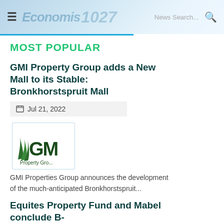≡  [logo: Economis 1027]  News Search...  🔍
MOST POPULAR
GMI Property Group adds a New Mall to its Stable: Bronkhorstspruit Mall
Jul 21, 2022
[Figure (logo): GMI Property Group logo — shows GM letters with stylized grass/leaves and 'Property Gro...' text below]
GMI Properties Group announces the development of the much-anticipated Bronkhorstspruit...
Equites Property Fund and Mabel conclude B-